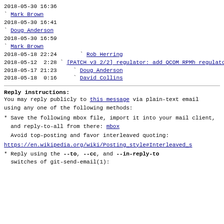2018-05-30 16:36
` Mark Brown
2018-05-30 16:41
` Doug Anderson
2018-05-30 16:59
` Mark Brown
2018-05-18 22:24       ` Rob Herring
2018-05-12  2:28  ` [PATCH v3 2/2] regulator: add QCOM RPMh regulator driver David Collins
2018-05-17 21:23     ` Doug Anderson
2018-05-18  0:16     ` David Collins
Reply instructions:
You may reply publicly to this message via plain-text email
using any one of the following methods:
* Save the following mbox file, import it into your mail client,
  and reply-to-all from there: mbox
Avoid top-posting and favor interleaved quoting:
https://en.wikipedia.org/wiki/Posting_style#Interleaved_s
* Reply using the --to, --cc, and --in-reply-to
  switches of git-send-email(1):